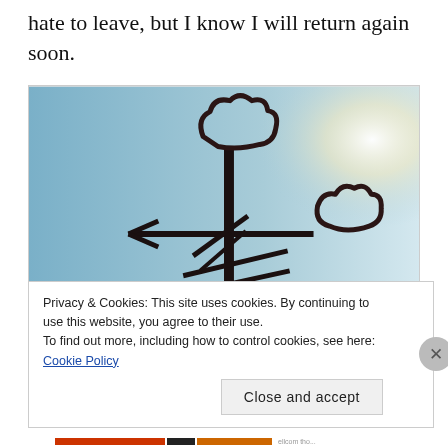hate to leave, but I know I will return again soon.
[Figure (photo): A weather vane silhouetted against a bright blue sky with sunlight flare in the upper right corner. The metal vane features decorative cloud-shaped ends and cross-shaped directional elements.]
Privacy & Cookies: This site uses cookies. By continuing to use this website, you agree to their use.
To find out more, including how to control cookies, see here: Cookie Policy
Close and accept